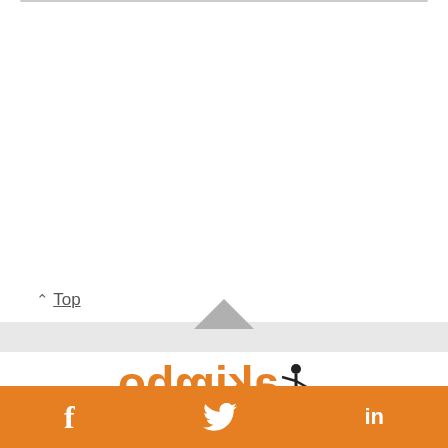^ Top
[Figure (logo): Akimbo logo with figure icon, text displayed mirrored/upside-down in orange]
f  (twitter bird)  in